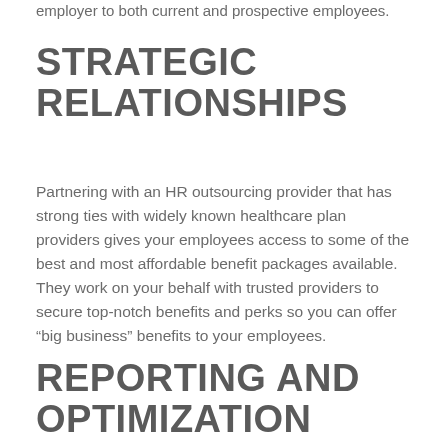employer to both current and prospective employees.
STRATEGIC RELATIONSHIPS
Partnering with an HR outsourcing provider that has strong ties with widely known healthcare plan providers gives your employees access to some of the best and most affordable benefit packages available. They work on your behalf with trusted providers to secure top-notch benefits and perks so you can offer “big business” benefits to your employees.
REPORTING AND OPTIMIZATION